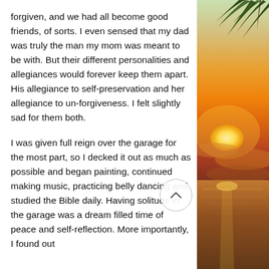forgiven, and we had all become good friends, of sorts.  I even sensed that my dad was truly the man my mom was meant to be with.  But their different personalities and allegiances would forever keep them apart.  His allegiance to self-preservation and her allegiance to un-forgiveness.  I felt slightly sad for them both.

I was given full reign over the garage for the most part, so I decked it out as much as possible and began painting, continued making music, practicing belly dancing and studied the Bible daily. Having solitude in the garage was a dream filled time of peace and self-reflection.  More importantly, I found out
[Figure (photo): Tropical sunset photo showing palm tree fronds at top right and a golden-orange sunset over water below, forming a warm vertical strip on the right side of the page]